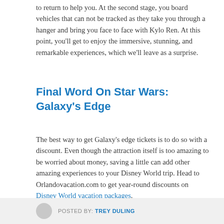to return to help you. At the second stage, you board vehicles that can not be tracked as they take you through a hanger and bring you face to face with Kylo Ren. At this point, you'll get to enjoy the immersive, stunning, and remarkable experiences, which we'll leave as a surprise.
Final Word On Star Wars: Galaxy's Edge
The best way to get Galaxy's edge tickets is to do so with a discount. Even though the attraction itself is too amazing to be worried about money, saving a little can add other amazing experiences to your Disney World trip. Head to Orlandovacation.com to get year-round discounts on Disney World vacation packages.
POSTED BY: TREY DULING